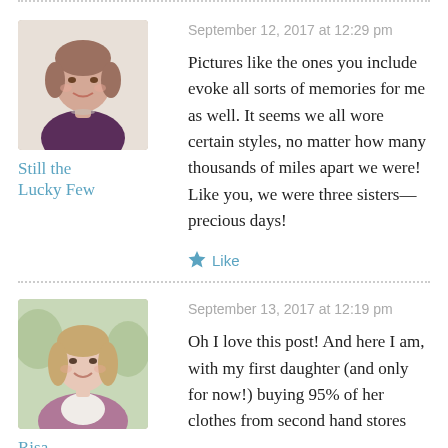[Figure (photo): Avatar photo of an elderly woman with short brown hair, wearing a dark purple top, smiling]
Still the Lucky Few
September 12, 2017 at 12:29 pm
Pictures like the ones you include evoke all sorts of memories for me as well. It seems we all wore certain styles, no matter how many thousands of miles apart we were! Like you, we were three sisters—precious days!
Like
[Figure (photo): Avatar photo of a young woman with light hair, wearing a mauve/purple cardigan, smiling outdoors]
Risa
September 13, 2017 at 12:19 pm
Oh I love this post! And here I am, with my first daughter (and only for now!) buying 95% of her clothes from second hand stores